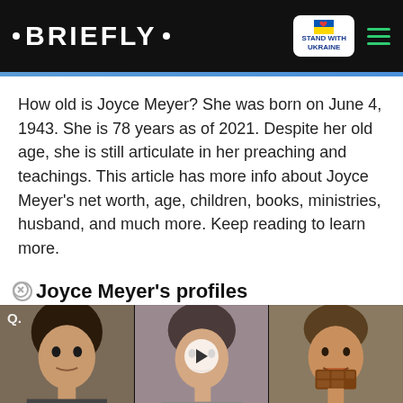• BRIEFLY •
How old is Joyce Meyer? She was born on June 4, 1943. She is 78 years as of 2021. Despite her old age, she is still articulate in her preaching and teachings. This article has more info about Joyce Meyer's net worth, age, children, books, ministries, husband, and much more. Keep reading to learn more.
Joyce Meyer's profiles
[Figure (infographic): Three profile cards showing different people with net worth labels: $5 M, ???, $3 M. Middle card has a play button overlay. Far right has a red dropdown button.]
[Figure (infographic): BitLife advertisement banner: 'NOW WITH GOD MODE' with lightning bolt, hand pointing icon, close and question mark buttons.]